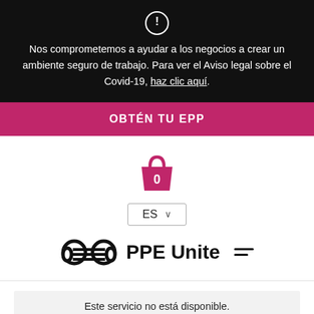Nos comprometemos a ayudar a los negocios a crear un ambiente seguro de trabajo. Para ver el Aviso legal sobre el Covid-19, haz clic aquí.
OBTÉN TU EPP
[Figure (illustration): Pink shopping bag icon with number 0 inside]
ES ▾
[Figure (logo): PPE Unite logo with mask icon]
Este servicio no está disponible.